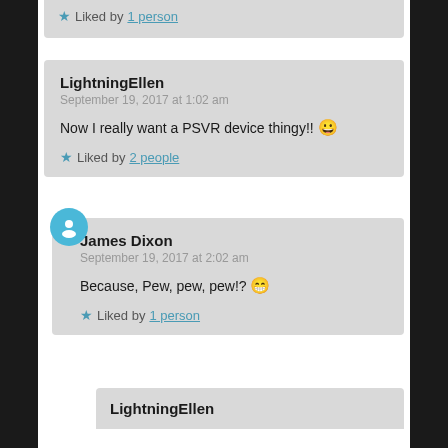★ Liked by 1 person
LightningEllen
September 19, 2017 at 1:02 am
Now I really want a PSVR device thingy!! 😀
★ Liked by 2 people
James Dixon
September 19, 2017 at 2:02 am
Because, Pew, pew, pew!? 😁
★ Liked by 1 person
LightningEllen